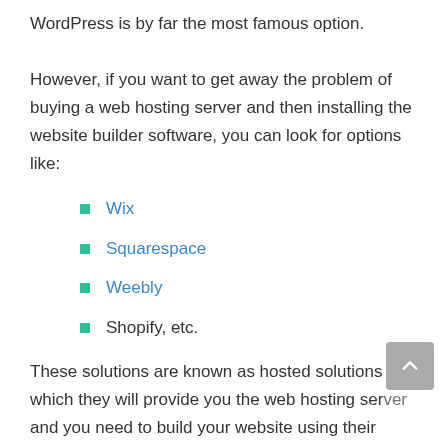WordPress is by far the most famous option. However, if you want to get away the problem of buying a web hosting server and then installing the website builder software, you can look for options like:
Wix
Squarespace
Weebly
Shopify, etc.
These solutions are known as hosted solutions in which they will provide you the web hosting server and you need to build your website using their